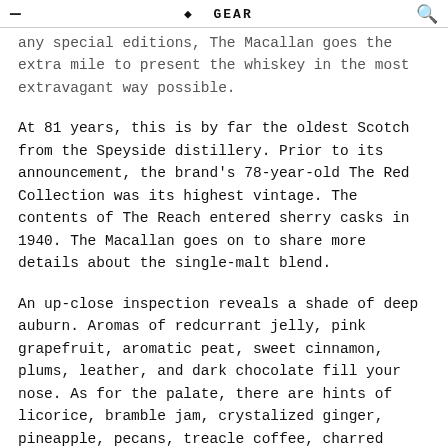≡  [LOGO] GEAR  🔍
any special editions, The Macallan goes the extra mile to present the whiskey in the most extravagant way possible.
At 81 years, this is by far the oldest Scotch from the Speyside distillery. Prior to its announcement, the brand's 78-year-old The Red Collection was its highest vintage. The contents of The Reach entered sherry casks in 1940. The Macallan goes on to share more details about the single-malt blend.
An up-close inspection reveals a shade of deep auburn. Aromas of redcurrant jelly, pink grapefruit, aromatic peat, sweet cinnamon, plums, leather, and dark chocolate fill your nose. As for the palate, there are hints of licorice, bramble jam, crystalized ginger, pineapple, pecans, treacle coffee, charred pineapple, nutmeg, and woodsmoke.
It then finishes off as smoky, rich, and sweet. The Reach arrives in a luxurious cylindrical wooden box. It opens to